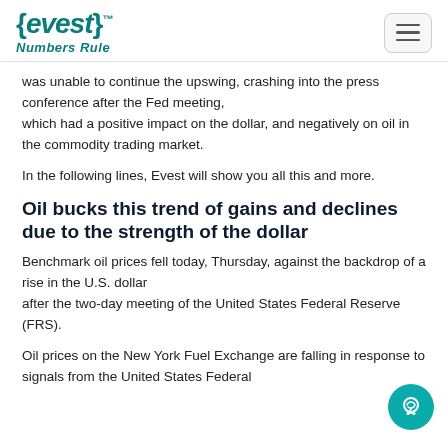{evest} Numbers Rule
was unable to continue the upswing, crashing into the press conference after the Fed meeting, which had a positive impact on the dollar, and negatively on oil in the commodity trading market.
In the following lines, Evest will show you all this and more.
Oil bucks this trend of gains and declines due to the strength of the dollar
Benchmark oil prices fell today, Thursday, against the backdrop of a rise in the U.S. dollar after the two-day meeting of the United States Federal Reserve (FRS).
Oil prices on the New York Fuel Exchange are falling in response to signals from the United States Federal